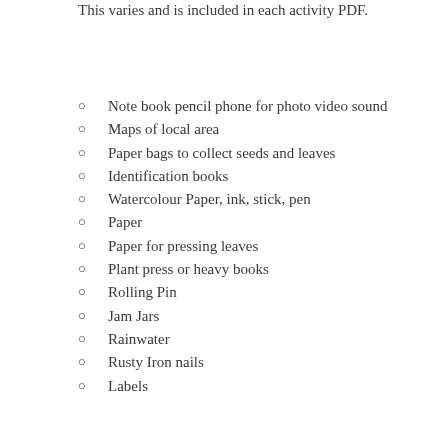This varies and is included in each activity PDF.
Note book pencil phone for photo video sound
Maps of local area
Paper bags to collect seeds and leaves
Identification books
Watercolour Paper, ink, stick, pen
Paper
Paper for pressing leaves
Plant press or heavy books
Rolling Pin
Jam Jars
Rainwater
Rusty Iron nails
Labels